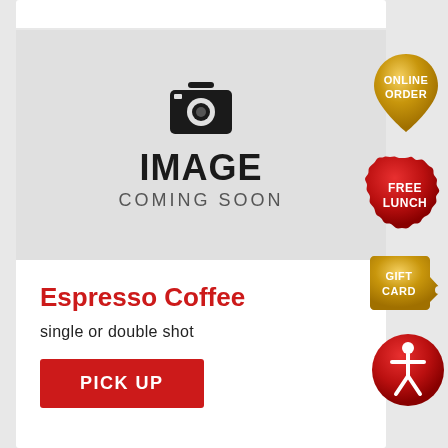[Figure (illustration): Image Coming Soon placeholder with camera icon, bold text IMAGE and subtitle COMING SOON on a light grey background]
Espresso Coffee
single or double shot
PICK UP
[Figure (logo): Gold teardrop badge with text ONLINE ORDER]
[Figure (logo): Red wax seal badge with text FREE LUNCH]
[Figure (logo): Gold price-tag badge with text GIFT CARD]
[Figure (logo): Red circle accessibility badge with person icon]